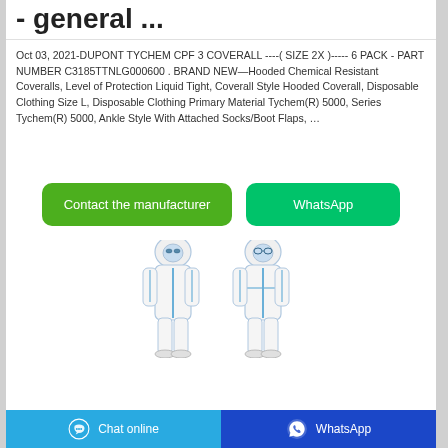- general ...
Oct 03, 2021-DUPONT TYCHEM CPF 3 COVERALL ----( SIZE 2X )----- 6 PACK - PART NUMBER C3185TTNLG000600 . BRAND NEW—Hooded Chemical Resistant Coveralls, Level of Protection Liquid Tight, Coverall Style Hooded Coverall, Disposable Clothing Size L, Disposable Clothing Primary Material Tychem(R) 5000, Series Tychem(R) 5000, Ankle Style With Attached Socks/Boot Flaps, …
[Figure (illustration): Two people wearing white hooded chemical resistant coveralls/hazmat suits with blue trim, standing side by side.]
Chat online   WhatsApp